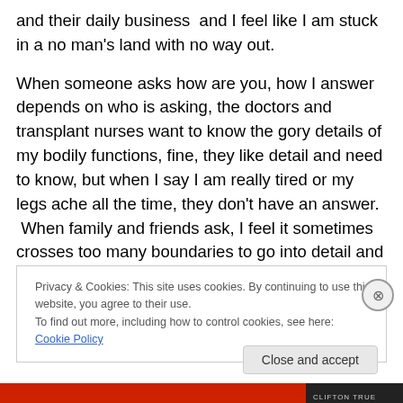and their daily business  and I feel like I am stuck in a no man's land with no way out.

When someone asks how are you, how I answer depends on who is asking, the doctors and transplant nurses want to know the gory details of my bodily functions, fine, they like detail and need to know, but when I say I am really tired or my legs ache all the time, they don't have an answer.  When family and friends ask, I feel it sometimes crosses too many boundaries to go into detail and there are many responses I could give and sometimes I just
Privacy & Cookies: This site uses cookies. By continuing to use this website, you agree to their use.
To find out more, including how to control cookies, see here: Cookie Policy